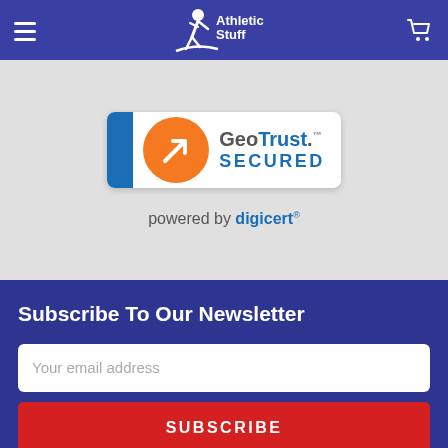[Figure (logo): Athletic Stuff logo with hamburger menu and cart icon on blue header bar]
[Figure (logo): GeoTrust Secured badge powered by digicert, on light grey background]
Subscribe To Our Newsletter
Your email address
SUBSCRIBE